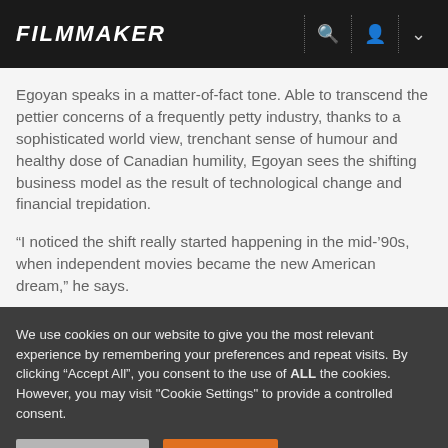FILMMAKER
Egoyan speaks in a matter-of-fact tone. Able to transcend the pettier concerns of a frequently petty industry, thanks to a sophisticated world view, trenchant sense of humour and healthy dose of Canadian humility, Egoyan sees the shifting business model as the result of technological change and financial trepidation.
“I noticed the shift really started happening in the mid-’90s, when independent movies became the new American dream,” he says.
We use cookies on our website to give you the most relevant experience by remembering your preferences and repeat visits. By clicking “Accept All”, you consent to the use of ALL the cookies. However, you may visit "Cookie Settings" to provide a controlled consent.